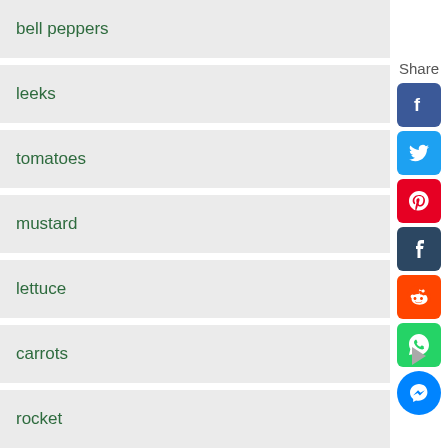bell peppers
leeks
tomatoes
mustard
lettuce
carrots
rocket
basil
[Figure (infographic): Social share sidebar with icons for Facebook, Twitter, Pinterest, Tumblr, Reddit, WhatsApp, and Messenger, plus a Share label and a right-arrow navigation button]